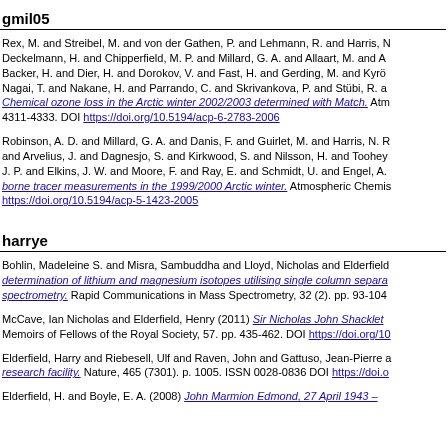gmil05
Rex, M. and Streibel, M. and von der Gathen, P. and Lehmann, R. and Harris, N. and Deckelmann, H. and Chipperfield, M. P. and Millard, G. A. and Allaart, M. and A... Backer, H. and Dier, H. and Dorokov, V. and Fast, H. and Gerding, M. and Kyrö... Nagai, T. and Nakane, H. and Parrando, C. and Skrivankova, P. and Stübi, R. a... Chemical ozone loss in the Arctic winter 2002/2003 determined with Match. Atm... 4311-4333. DOI https://doi.org/10.5194/acp-6-2783-2006
Robinson, A. D. and Millard, G. A. and Danis, F. and Guirlet, M. and Harris, N. R... and Arvelius, J. and Dagnesjo, S. and Kirkwood, S. and Nilsson, H. and Toohey... J. P. and Elkins, J. W. and Moore, F. and Ray, E. and Schmidt, U. and Engel, A... borne tracer measurements in the 1999/2000 Arctic winter. Atmospheric Chemis... https://doi.org/10.5194/acp-5-1423-2005
harrye
Bohlin, Madeleine S. and Misra, Sambuddha and Lloyd, Nicholas and Elderfield... determination of lithium and magnesium isotopes utilising single column separa... spectrometry. Rapid Communications in Mass Spectrometry, 32 (2). pp. 93-104...
McCave, Ian Nicholas and Elderfield, Henry (2011) Sir Nicholas John Shacklet... Memoirs of Fellows of the Royal Society, 57. pp. 435-462. DOI https://doi.org/10...
Elderfield, Harry and Riebesell, Ulf and Raven, John and Gattuso, Jean-Pierre a... research facility. Nature, 465 (7301). p. 1005. ISSN 0028-0836 DOI https://doi.o...
Elderfield, H. and Boyle, E. A. (2008) John Marmion Edmond, 27 April 1943 –...